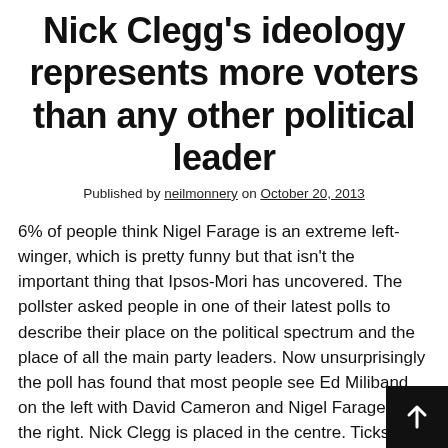Nick Clegg's ideology represents more voters than any other political leader
Published by neilmonnery on October 20, 2013
6% of people think Nigel Farage is an extreme left-winger, which is pretty funny but that isn't the important thing that Ipsos-Mori has uncovered. The pollster asked people in one of their latest polls to describe their place on the political spectrum and the place of all the main party leaders. Now unsurprisingly the poll has found that most people see Ed Miliband on the left with David Cameron and Nigel Farage on the right. Nick Clegg is placed in the centre. Ticks all round.